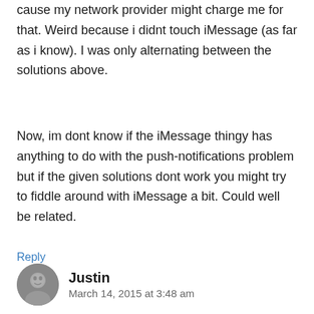cause my network provider might charge me for that. Weird because i didnt touch iMessage (as far as i know). I was only alternating between the solutions above.
Now, im dont know if the iMessage thingy has anything to do with the push-notifications problem but if the given solutions dont work you might try to fiddle around with iMessage a bit. Could well be related.
Reply
Justin
March 14, 2015 at 3:48 am